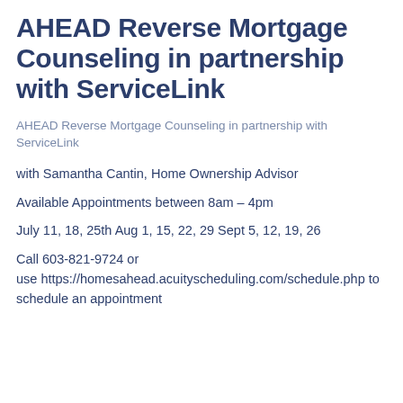AHEAD Reverse Mortgage Counseling in partnership with ServiceLink
AHEAD Reverse Mortgage Counseling in partnership with ServiceLink
with Samantha Cantin, Home Ownership Advisor
Available Appointments between 8am – 4pm
July 11, 18, 25th Aug 1, 15, 22, 29 Sept 5, 12, 19, 26
Call 603-821-9724 or use https://homesahead.acuityscheduling.com/schedule.php to schedule an appointment